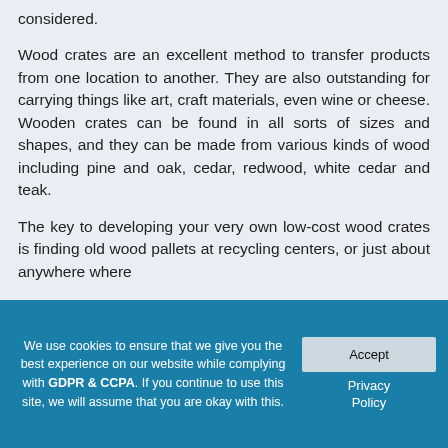considered.
Wood crates are an excellent method to transfer products from one location to another. They are also outstanding for carrying things like art, craft materials, even wine or cheese. Wooden crates can be found in all sorts of sizes and shapes, and they can be made from various kinds of wood including pine and oak, cedar, redwood, white cedar and teak.
The key to developing your very own low-cost wood crates is finding old wood pallets at recycling centers, or just about anywhere where
We use cookies to ensure that we give you the best experience on our website while complying with GDPR & CCPA. If you continue to use this site, we will assume that you are okay with this.
Accept
Privacy Policy